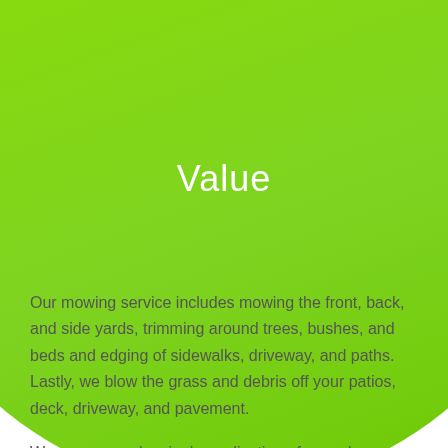[Figure (illustration): Large green circle decorative background element occupying the upper portion of the page, with the word 'Value' displayed in white text near the bottom of the circle.]
Value
Our mowing service includes mowing the front, back, and side yards, trimming around trees, bushes, and beds and edging of sidewalks, driveway, and paths. Lastly, we blow the grass and debris off your patios, deck, driveway, and pavement.
We recommend a single application of very slow-